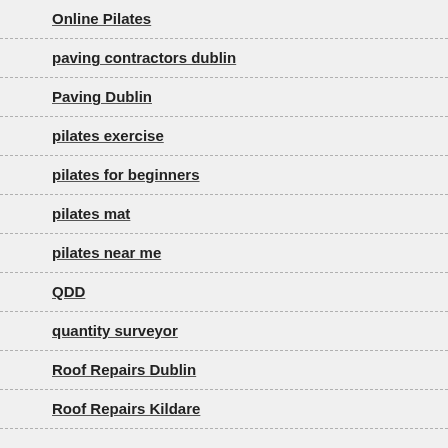Online Pilates
paving contractors dublin
Paving Dublin
pilates exercise
pilates for beginners
pilates mat
pilates near me
QDD
quantity surveyor
Roof Repairs Dublin
Roof Repairs Kildare